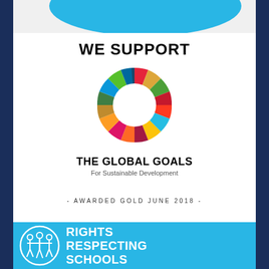[Figure (illustration): Teal/cyan decorative swoosh at top of page]
WE SUPPORT
[Figure (logo): UN Sustainable Development Goals colour wheel logo — circular arrangement of 17 coloured segments]
THE GLOBAL GOALS
For Sustainable Development
- AWARDED GOLD JUNE 2018 -
[Figure (logo): Rights Respecting Schools logo with circle illustration of children holding hands, white on cyan background, with bold white text RIGHTS RESPECTING SCHOOLS]